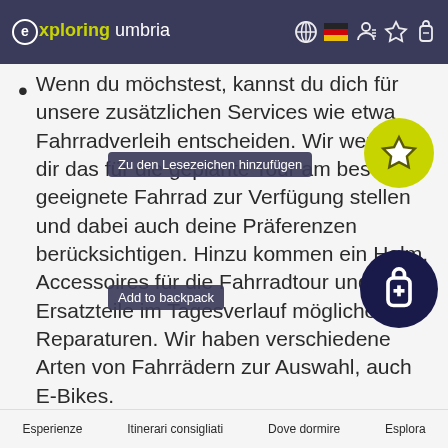exploring umbria
Wenn du möchstest, kannst du dich für unsere zusätzlichen Services wie etwa Fahrradverleih entscheiden. Wir werden dir das für die geplante Tour am besten geeignete Fahrrad zur Verfügung stellen und dabei auch deine Präferenzen berücksichtigen. Hinzu kommen ein Helm, Accessoires für die Fahrradtour und Ersatzteile im Tagesverlauf mögliche Reparaturen. Wir haben verschiedene Arten von Fahrrädern zur Auswahl, auch E-Bikes.
Diese Aktivität dauert einen halben Tag lang, daher ist kein Mittagessen enthalten. Unterwegs kannst du dich für ein Mittagessen entscheiden. Wir werden dir dann ein gutes Lokal
Esperienze   Itinerari consigliati   Dove dormire   Esplora